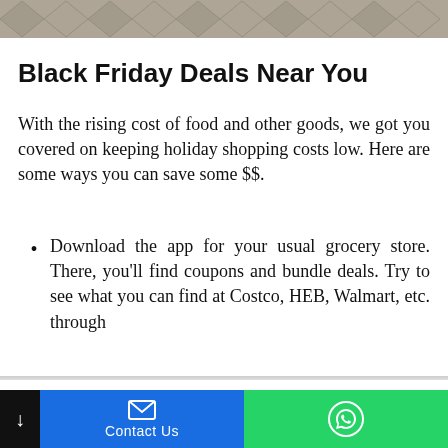[Figure (photo): Partial top image showing a decorative patterned rug or textile with diamond shapes, partially visible at the top of the page.]
Black Friday Deals Near You
With the rising cost of food and other goods, we got you covered on keeping holiday shopping costs low. Here are some ways you can save some $$.
Download the app for your usual grocery store. There, you'll find coupons and bundle deals. Try to see what you can find at Costco, HEB, Walmart, etc. through
We use cookies on our website to give you the most relevant experience by remembering your preferences and repeat visits. By clicking “Accept All”, you consent to the use of ALL the cookies. However, you may visit "Cookie Settings" to provide a controlled consent.
Cookie Settings | Accept All
Contact Us